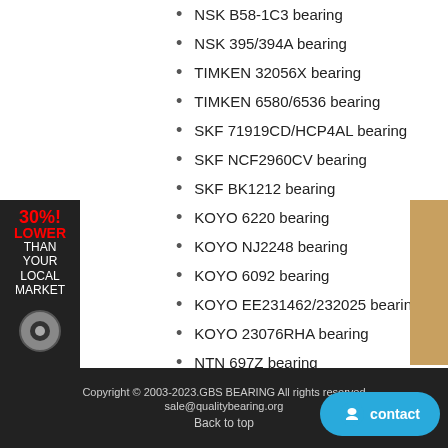NSK B58-1C3 bearing
NSK 395/394A bearing
TIMKEN 32056X bearing
TIMKEN 6580/6536 bearing
SKF 71919CD/HCP4AL bearing
SKF NCF2960CV bearing
SKF BK1212 bearing
KOYO 6220 bearing
KOYO NJ2248 bearing
KOYO 6092 bearing
KOYO EE231462/232025 bearing
KOYO 23076RHA bearing
NTN 697Z bearing
INA 4115 bearing
SKF 60/950MB bearing
KOYO 3NCN1018 bearing
NTN 2RT19402 bearing
Copyright © 2003-2023.GBS BEARING All rights reserved sale@qualitybearing.org Back to top